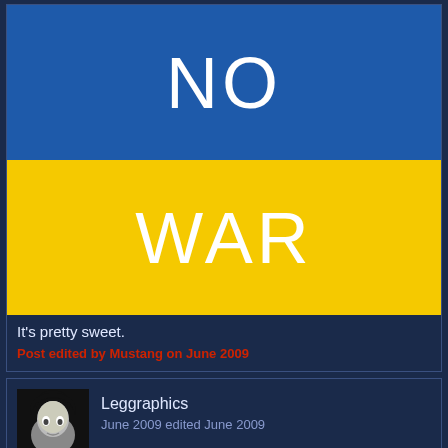[Figure (illustration): Ukrainian flag style two-band image with 'NO' in white text on blue top band and 'WAR' in white text on yellow bottom band]
It's pretty sweet.
Post edited by Mustang on June 2009
[Figure (photo): User avatar for Leggraphics showing a dark illustrated face with black hair]
Leggraphics
June 2009 edited June 2009